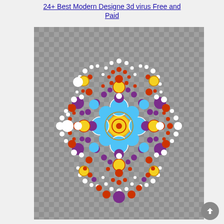24+ Best Modern Designe 3d virus Free and Paid
[Figure (illustration): A colorful mandala-style dot art design on a gray checkered background, featuring concentric circles and petal patterns made of multicolored dots in red, yellow, purple, cyan/blue, white, and orange arranged in a radially symmetric floral pattern.]